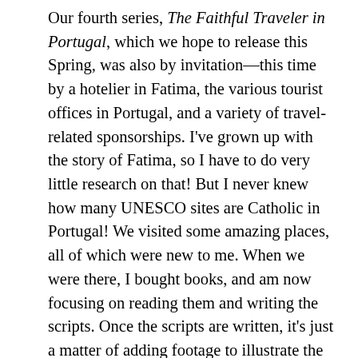Our fourth series, The Faithful Traveler in Portugal, which we hope to release this Spring, was also by invitation—this time by a hotelier in Fatima, the various tourist offices in Portugal, and a variety of travel-related sponsorships. I've grown up with the story of Fatima, so I have to do very little research on that! But I never knew how many UNESCO sites are Catholic in Portugal! We visited some amazing places, all of which were new to me. When we were there, I bought books, and am now focusing on reading them and writing the scripts. Once the scripts are written, it's just a matter of adding footage to illustrate the script, and the show comes together rather quickly.
PETE: Are there plans for further travels and season of The Faithful Traveler?